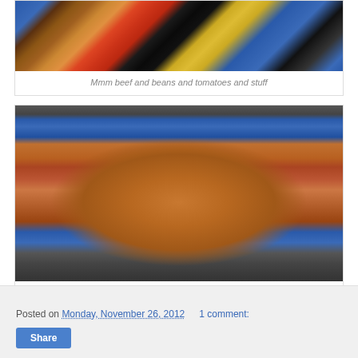[Figure (photo): Blue Dutch oven pot from above showing beef, black beans, tomatoes, corn and other ingredients before being stirred]
Mmm beef and beans and tomatoes and stuff
[Figure (photo): Blue Dutch oven pot showing taco soup liquid with black beans, corn, tomatoes in a broth, prior to serving and garnishing]
Taco soup, prior to serving and garnishing
Posted on Monday, November 26, 2012   1 comment:
Share